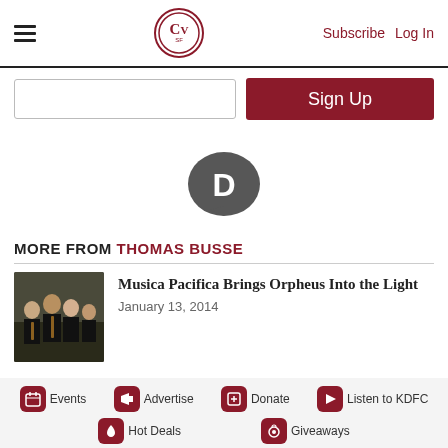CV SF | Subscribe | Log In
Sign Up
[Figure (logo): Disqus comment platform logo: dark grey speech bubble with letter D]
MORE FROM THOMAS BUSSE
[Figure (photo): Group photo of Musica Pacifica musicians dressed in black, outdoors]
Musica Pacifica Brings Orpheus Into the Light
January 13, 2014
Events | Advertise | Donate | Listen to KDFC | Hot Deals | Giveaways